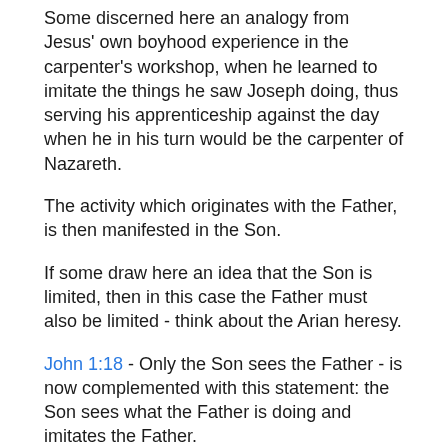Some discerned here an analogy from Jesus' own boyhood experience in the carpenter's workshop, when he learned to imitate the things he saw Joseph doing, thus serving his apprenticeship against the day when he in his turn would be the carpenter of Nazareth.
The activity which originates with the Father, is then manifested in the Son.
If some draw here an idea that the Son is limited, then in this case the Father must also be limited - think about the Arian heresy.
John 1:18 - Only the Son sees the Father - is now complemented with this statement: the Son sees what the Father is doing and imitates the Father.
Here, we find the agreement of actions, wills, and purposes between the Father and the Son.
5:20